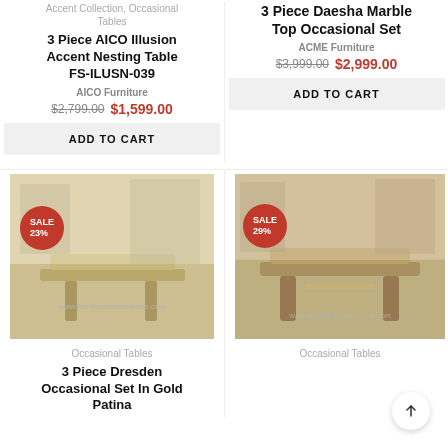Accent Collection, Occasional Tables
3 Piece AICO Illusion Accent Nesting Table FS-ILUSN-039
AICO Furniture
$2,799.00  $1,599.00
ADD TO CART
3 Piece Daesha Marble Top Occasional Set
ACME Furniture
$3,999.00  $2,999.00
ADD TO CART
[Figure (photo): Gold ornate furniture set in a room, with SALE 23% badge]
Occasional Tables
3 Piece Dresden Occasional Set In Gold Patina
[Figure (photo): Brown wooden occasional table in a room setting, with SALE 29% badge]
Occasional Tables